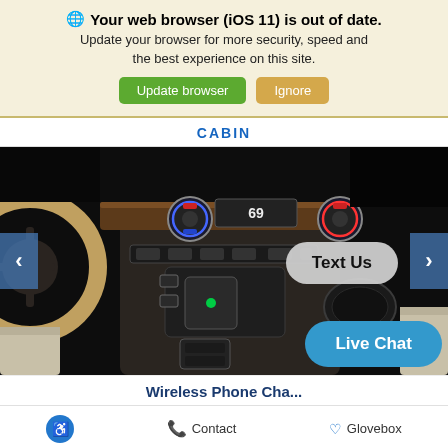🌐 Your web browser (iOS 11) is out of date. Update your browser for more security, speed and the best experience on this site.
Update browser | Ignore
CABIN
[Figure (photo): Car interior showing center console with wireless charging pad, climate controls, and infotainment. Overlaid buttons: 'Text Us' (gray rounded) and 'Live Chat' (blue rounded). Navigation arrows on left and right.]
Wireless Phone Cha...
Contact | Glovebox